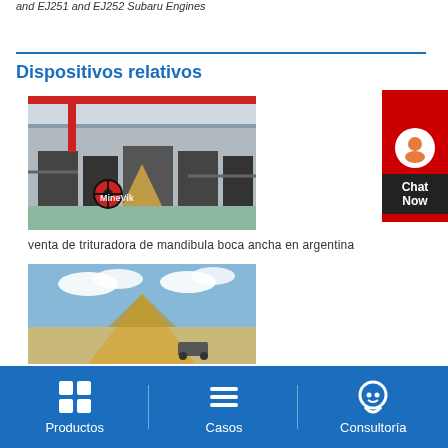and EJ251 and EJ252 Subaru Engines
Dispositivos relativos
[Figure (photo): Industrial jaw crusher machinery inside a factory. MineVik watermark visible.]
venta de trituradora de mandibula boca ancha en argentina
[Figure (photo): Outdoor quarry or mining site with triangular tent structure under a blue sky with clouds.]
[Figure (other): Chat Now customer support widget with red background and operator icon]
Productos   Casos   Consultoría